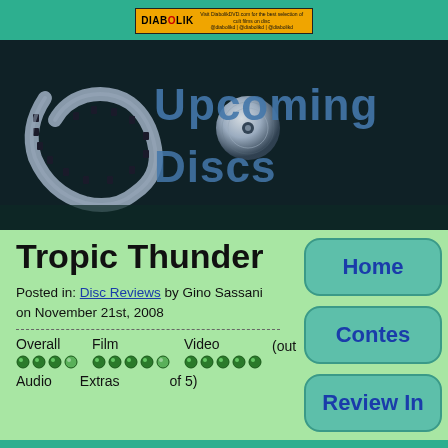[Figure (logo): Diabolik DVD banner advertisement with orange/black logo and small text]
[Figure (logo): Upcoming Discs website header banner with film reel and disc imagery on dark background, blue text reading Upcoming Discs]
Tropic Thunder
Posted in: Disc Reviews by Gino Sassani on November 21st, 2008
Overall [4/5 dots] Film [4.5/5 dots] Video [5/5 dots] (out of 5) Audio Extras of 5)